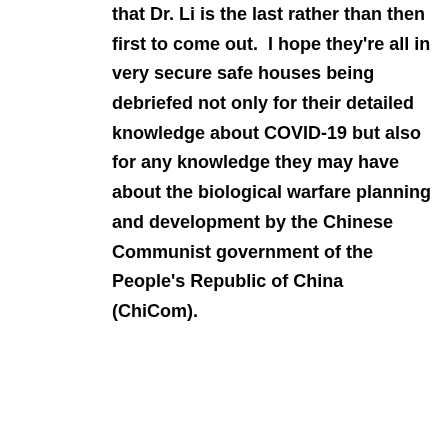that Dr. Li is the last rather than then first to come out.  I hope they're all in very secure safe houses being debriefed not only for their detailed knowledge about COVID-19 but also for any knowledge they may have about the biological warfare planning and development by the Chinese Communist government of the People's Republic of China (ChiCom).